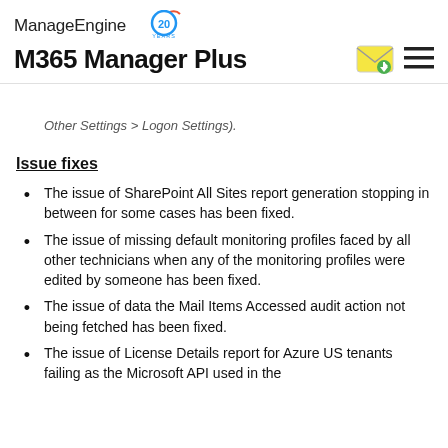ManageEngine 20 YEARS M365 Manager Plus
Other Settings > Logon Settings).
Issue fixes
The issue of SharePoint All Sites report generation stopping in between for some cases has been fixed.
The issue of missing default monitoring profiles faced by all other technicians when any of the monitoring profiles were edited by someone has been fixed.
The issue of data the Mail Items Accessed audit action not being fetched has been fixed.
The issue of License Details report for Azure US tenants failing as the Microsoft API used in the